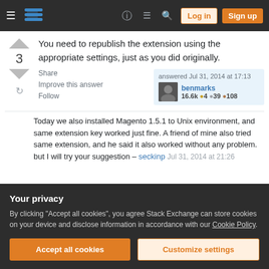Stack Exchange navigation bar with Log in and Sign up buttons
You need to republish the extension using the appropriate settings, just as you did originally.
Share
Improve this answer
Follow
answered Jul 31, 2014 at 17:13
benmarks
16.6k  4  39  108
Today we also installed Magento 1.5.1 to Unix environment, and same extension key worked just fine. A friend of mine also tried same extension, and he said it also worked without any problem. but I will try your suggestion – seckinp  Jul 31, 2014 at 21:26
Your privacy
By clicking "Accept all cookies", you agree Stack Exchange can store cookies on your device and disclose information in accordance with our Cookie Policy.
Accept all cookies
Customize settings